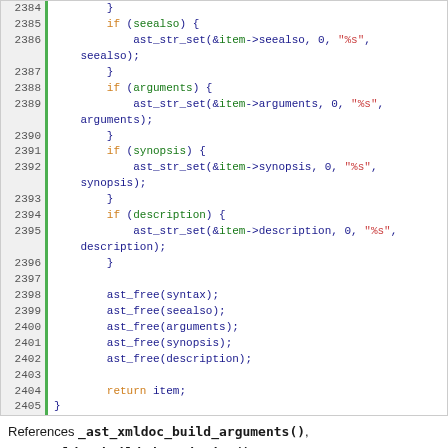[Figure (screenshot): Source code listing lines 2384-2405 in C showing conditional ast_str_set calls and ast_free calls with return item]
References _ast_xmldoc_build_arguments(), _ast_xmldoc_build_description(), _ast_xmldoc_build_seealso(), _ast_xmldoc_build_synopsis(), _ast_xmldoc_build_syntax(), ast_xml_doc_item::arguments, ast_free, ast_str_set(),